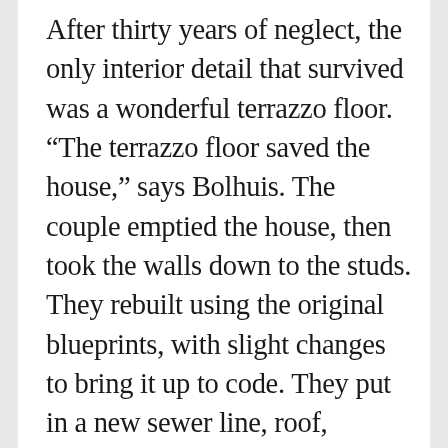After thirty years of neglect, the only interior detail that survived was a wonderful terrazzo floor. “The terrazzo floor saved the house,” says Bolhuis. The couple emptied the house, then took the walls down to the studs. They rebuilt using the original blueprints, with slight changes to bring it up to code. They put in a new sewer line, roof, double-paned windows, insulation, plumbing, electrical, mechanical, kitchen, and bathrooms. Bolhuis had fun choosing fixtures, knobs, and other things not mentioned here.